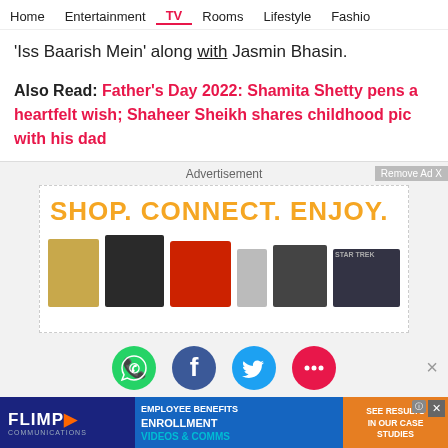Home | Entertainment | TV | Rooms | Lifestyle | Fashion
'Iss Baarish Mein' along with Jasmin Bhasin.
Also Read: Father's Day 2022: Shamita Shetty pens a heartfelt wish; Shaheer Sheikh shares childhood pic with his dad
[Figure (screenshot): Advertisement banner: Shop. Connect. Enjoy. with product images including a handbag, gaming console, kitchen mixer, water bottles, tablet, and movie poster.]
[Figure (infographic): Social sharing buttons: WhatsApp (green), Facebook (blue), Twitter (light blue), Chat/More (pink)]
[Figure (screenshot): Flimp Communications advertisement: Employee Benefits Enrollment Videos & Comms - See Results in Our Case Studies]